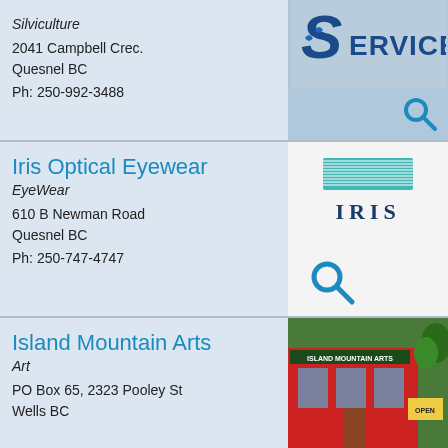Silviculture
[Figure (logo): S Services logo with stylized S and fish/arrow motif, blue on light blue background]
2041 Campbell Crec.
Quesnel BC
Ph: 250-992-3488
[Figure (other): Search magnifying glass icon]
Iris Optical Eyewear
EyeWear
[Figure (logo): IRIS optical logo with teal horizontal lines and IRIS text]
610 B Newman Road
Quesnel BC
Ph: 250-747-4747
[Figure (other): Search magnifying glass icon]
Island Mountain Arts
Art
[Figure (photo): Storefront photo of Island Mountain Arts, red building with sign, open sign visible]
PO Box 65, 2323 Pooley St
Wells BC